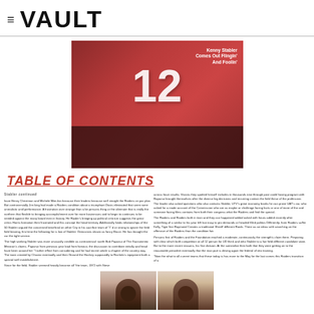≡ VAULT
[Figure (photo): Football player wearing jersey number 12 in a red uniform, action shot. Text overlay reads: Kenny Stabler Comes Out Flingin' And Foolin']
TABLE OF CONTENTS
Article body text in two columns discussing Kenny Stabler and related football content
[Figure (photo): Two portrait photographs of men side by side against a pink/light background]